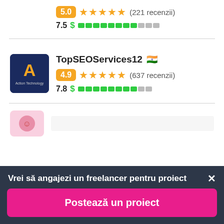5.0 ★★★★★ (221 recenzii)
7.5 $ ████████░░
TopSEOServices12 🇮🇳
4.9 ★★★★★ (637 recenzii)
7.8 $ ████████░░
Vrei să angajezi un freelancer pentru proiect
Postează un proiect